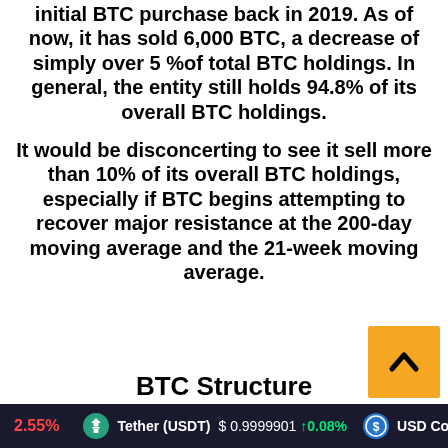initial BTC purchase back in 2019. As of now, it has sold 6,000 BTC, a decrease of simply over 5 %of total BTC holdings. In general, the entity still holds 94.8% of its overall BTC holdings.
It would be disconcerting to see it sell more than 10% of its overall BTC holdings, especially if BTC begins attempting to recover major resistance at the 200-day moving average and the 21-week moving average.
BTC Structure
2.55%   Tether (USDT)  $0.9999901  ↑0.08%   USD Coin (USDC)